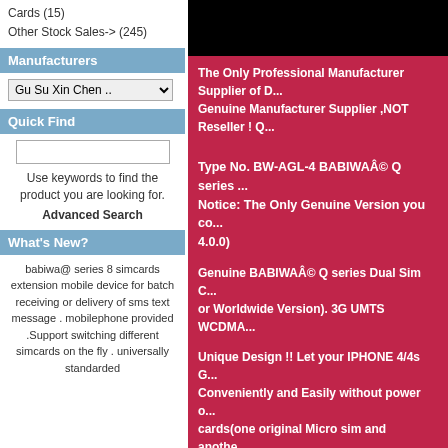Cards (15)
Other Stock Sales-> (245)
Manufacturers
Gu Su Xin Chen ..
Quick Find
Use keywords to find the product you are looking for.
Advanced Search
What's New?
babiwa@ series 8 simcards extension mobile device for batch receiving or delivery of sms text message . mobilephone provided .Support switching different simcards on the fly . universally standarded
The Only Professional Manufacturer Supplier of D... Genuine Manufacturer Supplier ,NOT Reseller ! Q...
Type No. BW-AGL-4 BABIWA© Q series ... Notice: The Only Genuine Version you co... 4.0.0)
Genuine BABIWA© Q series Dual Sim C... or Worldwide Version). 3G UMTS WCDMA...
Unique Design !! Let your IPHONE 4/4s G... Conveniently and Easily without power o... cards(one original Micro sim and anothe... same time and switch freely on the fly.